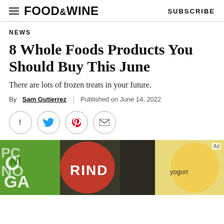FOOD&WINE   SUBSCRIBE
NEWS
8 Whole Foods Products You Should Buy This June
There are lots of frozen treats in your future.
By Sam Gutierrez | Published on June 14, 2022
[Figure (other): Social sharing icons: Facebook, Twitter, Pinterest, Email]
[Figure (photo): Photo of Whole Foods products including colorful packaged snacks and food items on a surface. Ad label visible in top right corner.]